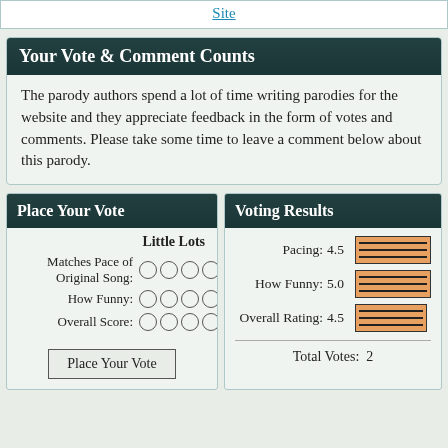Site
Your Vote & Comment Counts
The parody authors spend a lot of time writing parodies for the website and they appreciate feedback in the form of votes and comments. Please take some time to leave a comment below about this parody.
Place Your Vote
|  | Little Lots |
| --- | --- |
| Matches Pace of Original Song: | ○○○○○ |
| How Funny: | ○○○○○ |
| Overall Score: | ○○○○○ |
Voting Results
| Category | Score | Bar |
| --- | --- | --- |
| Pacing: | 4.5 | bar |
| How Funny: | 5.0 | bar |
| Overall Rating: | 4.5 | bar |
Total Votes:  2